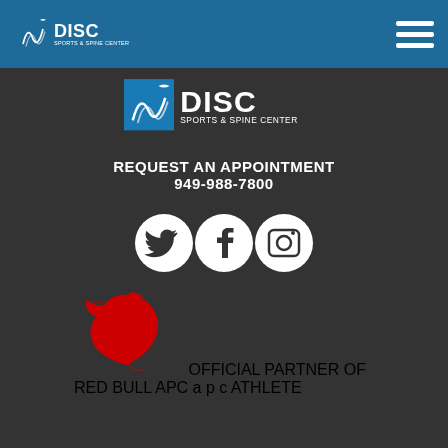DISC Sports & Spine Center
[Figure (logo): DISC Sports & Spine Center logo - large version on dark background]
REQUEST AN APPOINTMENT
949-988-7800
[Figure (other): Social media icons: Twitter, Facebook, Instagram]
[Figure (other): Official Partner of Red Bull APC badge with Red Bull bull logo and apc text with Athlete Performance text]